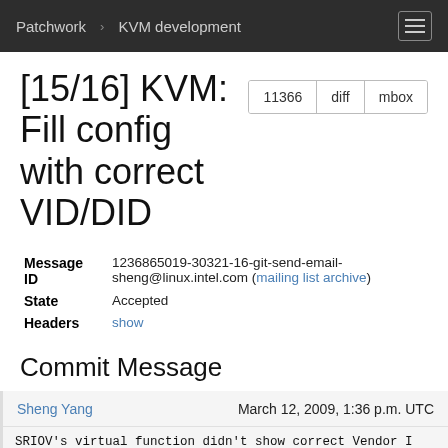Patchwork   KVM development
[15/16] KVM: Fill config with correct VID/DID
| Field | Value |
| --- | --- |
| Message ID | 1236865019-30321-16-git-send-email-sheng@linux.intel.com (mailing list archive) |
| State | Accepted |
| Headers | show |
Commit Message
Sheng Yang    March 12, 2009, 1:36 p.m. UTC
SRIOV's virtual function didn't show correct Vendor I
we have to fill them manually according to device/ven